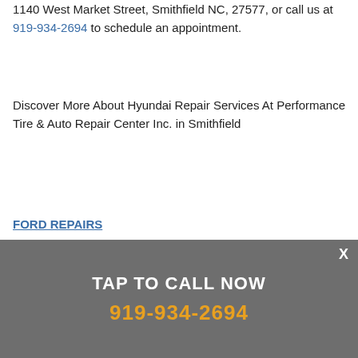1140 West Market Street, Smithfield NC, 27577, or call us at 919-934-2694 to schedule an appointment.
Discover More About Hyundai Repair Services At Performance Tire & Auto Repair Center Inc. in Smithfield
FORD REPAIRS
GMC REPAIRS
HONDA REPAIRS
TAP TO CALL NOW
919-934-2694